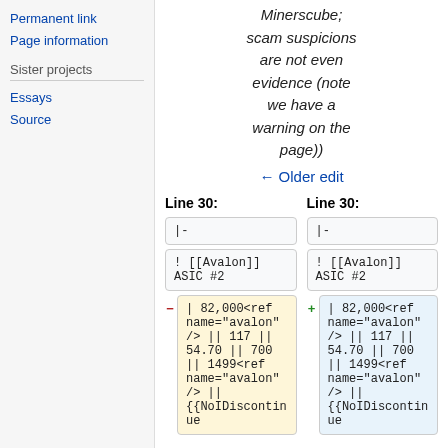Permanent link
Page information
Sister projects
Essays
Source
Minerscube; scam suspicions are not even evidence (note we have a warning on the page))
← Older edit
Line 30:
Line 30:
|-
|-
! [[Avalon]] ASIC #2
! [[Avalon]] ASIC #2
| 82,000<ref name="avalon" /> || 117 || 54.70 || 700 || 1499<ref name="avalon" /> ||
{{NoIDiscontinue
| 82,000<ref name="avalon" /> || 117 || 54.70 || 700 || 1499<ref name="avalon" /> ||
{{NoIDiscontinue